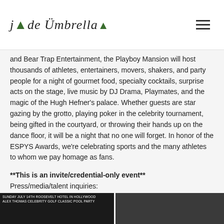jade umbrella
and Bear Trap Entertainment, the Playboy Mansion will host thousands of athletes, entertainers, movers, shakers, and party people for a night of gourmet food, specialty cocktails, surprise acts on the stage, live music by DJ Drama, Playmates, and the magic of the Hugh Hefner's palace. Whether guests are star gazing by the grotto, playing poker in the celebrity tournament, being gifted in the courtyard, or throwing their hands up on the dance floor, it will be a night that no one will forget. In honor of the ESPYS Awards, we're celebrating sports and the many athletes to whom we pay homage as fans.
**This is an invite/credential-only event** Press/media/talent inquiries: stacey@jadeumbrella.com
[Figure (photo): Two photos side by side: left image is a dark event flyer reading 'Sunday July 14th Roosevelt Hotel in Hollywood Alex Thomas Celebrity Golf Classic Pool Party'; right image shows athletes/people at what appears to be a sports or celebrity event.]